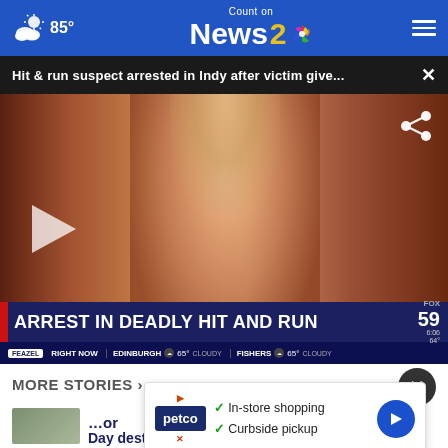85° Count on News 2 [NBC logo]
Hit & run suspect arrested in Indy after victim give... ×
[Figure (screenshot): Video thumbnail showing a woman with blonde hair in an orange top, with a TV news chyron reading ARREST IN DEADLY HIT AND RUN on FOX 59, and a play button overlay. Lower third shows Edinburgh CLOUDY 65°, Fishers CLOUDY 65°]
MORE STORIES ›
[Figure (infographic): Advertisement overlay showing Petco logo with checkmarks for In-store shopping and Curbside pickup, with a blue navigation arrow button]
Day destinations